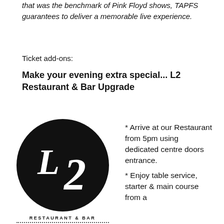that was the benchmark of Pink Floyd shows, TAPFS guarantees to deliver a memorable live experience.
Ticket add-ons:
Make your evening extra special... L2 Restaurant & Bar Upgrade
[Figure (logo): L2 Restaurant & Bar circular logo — black circle with white L2 lettering and 'RESTAURANT & BAR' text below with dotted underline]
* Arrive at our Restaurant from 5pm using dedicated centre doors entrance.
* Enjoy table service, starter & main course from a